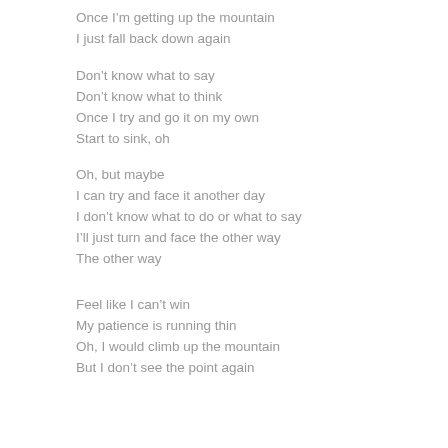Once I'm getting up the mountain
I just fall back down again
Don't know what to say
Don't know what to think
Once I try and go it on my own
Start to sink, oh
Oh, but maybe
I can try and face it another day
I don't know what to do or what to say
I'll just turn and face the other way
The other way
Feel like I can't win
My patience is running thin
Oh, I would climb up the mountain
But I don't see the point again